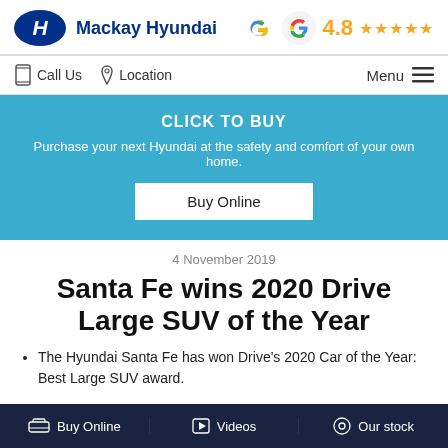Mackay Hyundai — Google Rating 4.8 ★★★★★
Call Us   Location   Menu
[Figure (infographic): Blue promotional banner reading CLICK TO BUY with subtext 'Purchase your next Hyundai at the safety and comfort of your own home.' and a white Buy Online button]
4 November 2019
Santa Fe wins 2020 Drive Large SUV of the Year
The Hyundai Santa Fe has won Drive's 2020 Car of the Year: Best Large SUV award.
Buy Online   Videos   Our stock